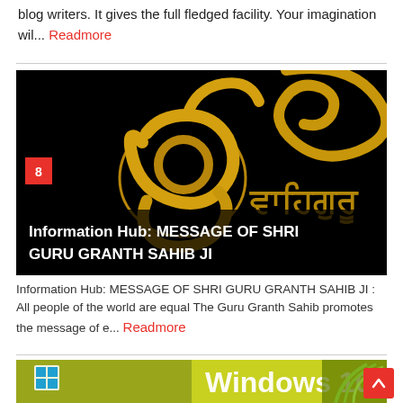blog writers. It gives the full fledged facility. Your imagination wil... Readmore
[Figure (illustration): Dark background image with golden Sikh symbol (Ek Onkar / Waheguru in Gurmukhi script in gold 3D style) with a badge showing '8'. Overlay text reads: Information Hub: MESSAGE OF SHRI GURU GRANTH SAHIB JI]
Information Hub: MESSAGE OF SHRI GURU GRANTH SAHIB JI : All people of the world are equal The Guru Granth Sahib promotes the message of e... Readmore
[Figure (screenshot): Windows 10 promotional image showing the Windows logo and 'Windows 10' text, with a desktop screenshot and green plant/fern on the right side.]